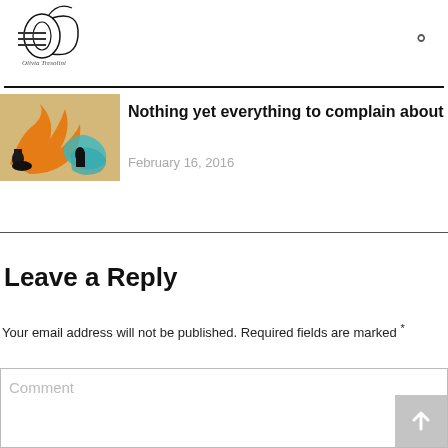Olivia Tresolini blog header with logo
Nothing yet everything to complain about
February 16, 2016
Leave a Reply
Your email address will not be published. Required fields are marked *
Comment